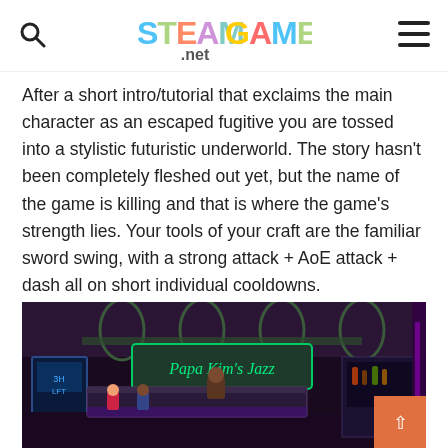SteamGamer.net
After a short intro/tutorial that exclaims the main character as an escaped fugitive you are tossed into a stylistic futuristic underworld. The story hasn't been completely fleshed out yet, but the name of the game is killing and that is where the game's strength lies. Your tools of your craft are the familiar sword swing, with a strong attack + AoE attack + dash all on short individual cooldowns.
[Figure (screenshot): Pixel art screenshot of a futuristic cyberpunk bar/underworld scene with neon signs reading 'Papa Kim's Jazz Bar', with characters and neon lighting in purple and green tones.]